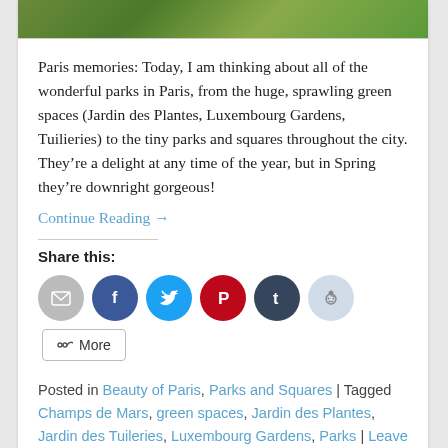[Figure (photo): Partial view of a garden or park with green foliage and plants at the top of the card]
Paris memories: Today, I am thinking about all of the wonderful parks in Paris, from the huge, sprawling green spaces (Jardin des Plantes, Luxembourg Gardens, Tuilieries) to the tiny parks and squares throughout the city. They’re a delight at any time of the year, but in Spring they’re downright gorgeous!
Continue Reading →
Share this:
[Figure (infographic): Row of circular social media share buttons: Email (grey), Facebook (dark blue), Twitter (light blue), Pinterest (red), Tumblr (dark navy), Reddit (light blue-grey); followed by a More button]
Posted in Beauty of Paris, Parks and Squares | Tagged Champs de Mars, green spaces, Jardin des Plantes, Jardin des Tuileries, Luxembourg Gardens, Parks | Leave a reply